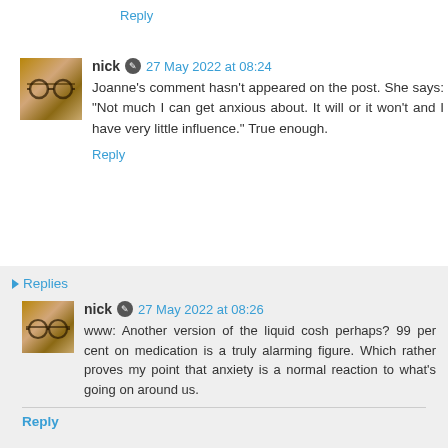Reply
nick 27 May 2022 at 08:24
Joanne's comment hasn't appeared on the post. She says: "Not much I can get anxious about. It will or it won't and I have very little influence." True enough.
Reply
Replies
nick 27 May 2022 at 08:26
www: Another version of the liquid cosh perhaps? 99 per cent on medication is a truly alarming figure. Which rather proves my point that anxiety is a normal reaction to what's going on around us.
Reply